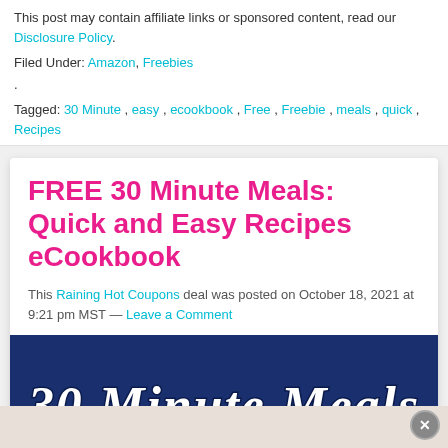This post may contain affiliate links or sponsored content, read our Disclosure Policy.
Filed Under: Amazon, Freebies
Tagged: 30 Minute , easy , ecookbook , Free , Freebie , meals , quick , Recipes
FREE 30 Minute Meals: Quick and Easy Recipes eCookbook
This Raining Hot Coupons deal was posted on October 18, 2021 at 9:21 pm MST — Leave a Comment
[Figure (illustration): Dark navy blue banner with white stylized handwritten text reading '30 Minute Meals']